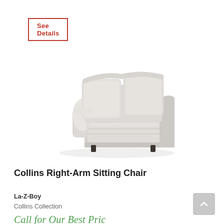See Details
[Figure (photo): La-Z-Boy Collins Right-Arm Sitting Chair upholstered in light gray/cream fabric, shown in a three-quarter view with rolled left arm, cushioned back and seat, on small dark legs]
Collins Right-Arm Sitting Chair
La-Z-Boy
Collins Collection
Call for Our Best Price